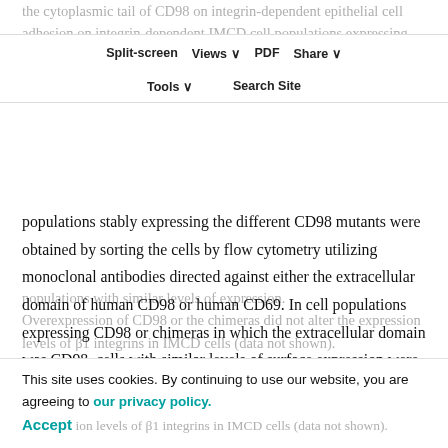the cytoplasmic tail of CD98 on integrin-dependent epithelial cell adhesion and integrin-dependent IMCD cell populations expressing full-length human CD98 as well as chimeras of CD98 with CD69 (Fig. 2). IMCD cell
Split-screen | Views | PDF | Share | Tools | Search Site
populations stably expressing the different CD98 mutants were obtained by sorting the cells by flow cytometry utilizing monoclonal antibodies directed against either the extracellular domain of human CD98 or human CD69. In cell populations expressing CD98 or chimeras in which the extracellular domain was CD98, cells with similar levels of surface expression were obtained (Fig. 2). Similarly, in all the cell populations expressing chimeras in which the extracellular domain was CD69, cell sorting achieved
populations with similar levels of expression. Overexpression of CD98 or the chimeras did not alter the expression levels of β1 integrins in IMCD cells (data not shown).
This site uses cookies. By continuing to use our website, you are agreeing to our privacy policy. Accept